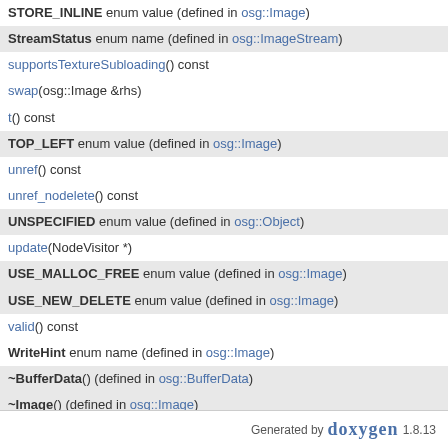STORE_INLINE enum value (defined in osg::Image)
StreamStatus enum name (defined in osg::ImageStream)
supportsTextureSubloading() const
swap(osg::Image &rhs)
t() const
TOP_LEFT enum value (defined in osg::Image)
unref() const
unref_nodelete() const
UNSPECIFIED enum value (defined in osg::Object)
update(NodeVisitor *)
USE_MALLOC_FREE enum value (defined in osg::Image)
USE_NEW_DELETE enum value (defined in osg::Image)
valid() const
WriteHint enum name (defined in osg::Image)
~BufferData() (defined in osg::BufferData)
~Image() (defined in osg::Image)
~ImageStream() (defined in osg::ImageStream)
~Object()
~Referenced() (defined in osg::Referenced)
Generated by doxygen 1.8.13